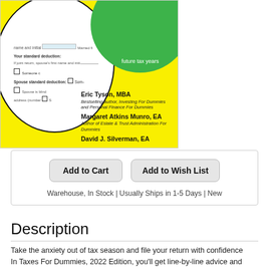[Figure (illustration): Book cover of Taxes For Dummies 2022 Edition showing a yellow background, a circular inset of a tax form, a green circle at top, and author names: Eric Tyson MBA, Margaret Atkins Munro EA, David J. Silverman EA]
Add to Cart   Add to Wish List
Warehouse, In Stock | Usually Ships in 1-5 Days | New
Description
Take the anxiety out of tax season and file your return with confidence
In Taxes For Dummies, 2022 Edition, you'll get line-by-line advice and plan ahead strategies that take the fear and anxiety out of tax season and save you money now and in the months and years ahead. This completely updated edition includes detailed coverage of the numerous tax bills have passed in recent years. You'll learn everything you need to know to file